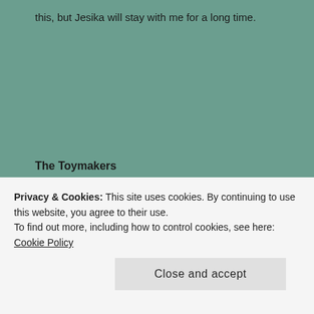this, but Jesika will stay with me for a long time.
The Toymakers
[Figure (photo): Book cover of 'The Toymakers' by Robert Dinsdale. Black background with ornate art nouveau style arch, snowflakes, and the author name 'Robert Dinsdale' in gold text.]
Privacy & Cookies: This site uses cookies. By continuing to use this website, you agree to their use.
To find out more, including how to control cookies, see here: Cookie Policy
Close and accept